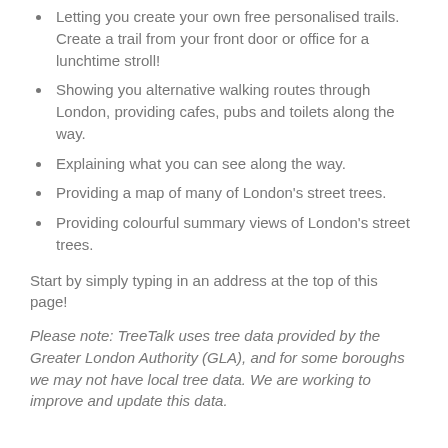Letting you create your own free personalised trails. Create a trail from your front door or office for a lunchtime stroll!
Showing you alternative walking routes through London, providing cafes, pubs and toilets along the way.
Explaining what you can see along the way.
Providing a map of many of London's street trees.
Providing colourful summary views of London's street trees.
Start by simply typing in an address at the top of this page!
Please note: TreeTalk uses tree data provided by the Greater London Authority (GLA), and for some boroughs we may not have local tree data. We are working to improve and update this data.